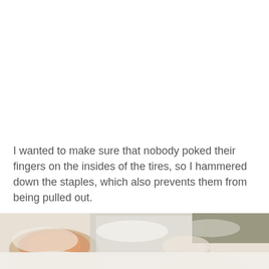I wanted to make sure that nobody poked their fingers on the insides of the tires, so I hammered down the staples, which also prevents them from being pulled out.
[Figure (photo): A partially visible photo showing what appears to be circular ceramic or pottery items covered in white powder/flour on a surface, with hands visible.]